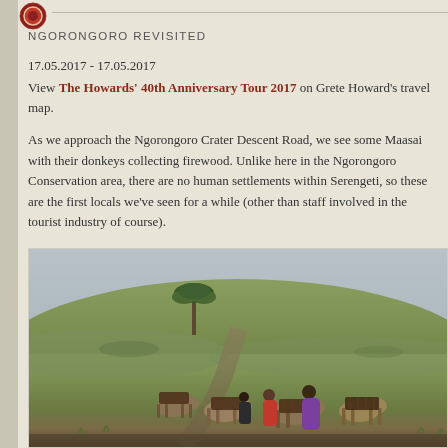NGORONGORO REVISITED
17.05.2017 - 17.05.2017
View The Howards' 40th Anniversary Tour 2017 on Grete Howard's travel map.
As we approach the Ngorongoro Crater Descent Road, we see some Maasai with their donkeys collecting firewood. Unlike here in the Ngorongoro Conservation area, there are no human settlements within Serengeti, so these are the first locals we've seen for a while (other than staff involved in the tourist industry of course).
[Figure (photo): Maasai people with donkeys loaded with firewood walking along a dirt path in the Ngorongoro Conservation area, Tanzania. Savanna grassland with a distinctive flat-topped acacia tree visible in the background under an overcast sky.]